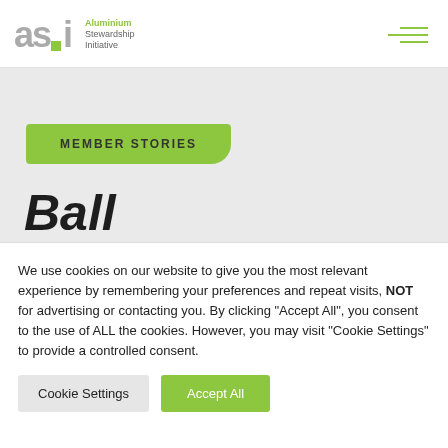ASI - Aluminium Stewardship Initiative
MEMBER STORIES
Ball
We use cookies on our website to give you the most relevant experience by remembering your preferences and repeat visits, NOT for advertising or contacting you. By clicking "Accept All", you consent to the use of ALL the cookies. However, you may visit "Cookie Settings" to provide a controlled consent.
Cookie Settings | Accept All